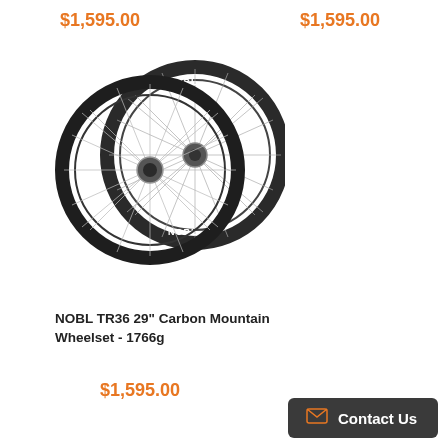$1,595.00
$1,595.00
[Figure (photo): NOBL TR36 29 inch carbon mountain bicycle wheelset showing two dark carbon fiber wheels with silver spokes overlapping each other, NOBL branding visible on rims]
NOBL TR36 29" Carbon Mountain Wheelset - 1766g
$1,595.00
Contact Us